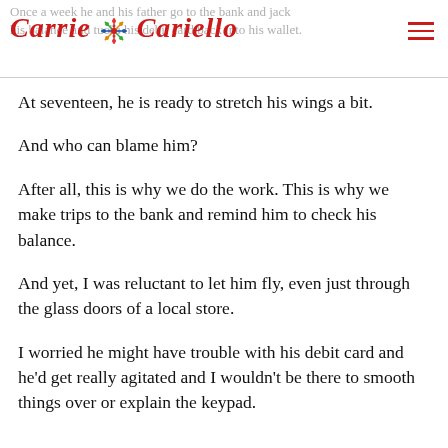Once a week he and his father go to the bank and jack his balance and tucks his debit card back into his wallet. | Carrie Cariello
At seventeen, he is ready to stretch his wings a bit.
And who can blame him?
After all, this is why we do the work. This is why we make trips to the bank and remind him to check his balance.
And yet, I was reluctant to let him fly, even just through the glass doors of a local store.
I worried he might have trouble with his debit card and he'd get really agitated and I wouldn't be there to smooth things over or explain the keypad.